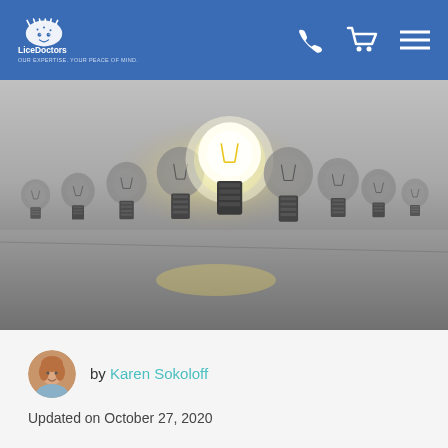LiceDoctors — Our Expertise. Your Peace of Mind.
[Figure (photo): A row of clear glass light bulbs in perspective, with one glowing white bulb standing out in the middle among dark unlit bulbs, on a grey background.]
by Karen Sokoloff
Updated on October 27, 2020